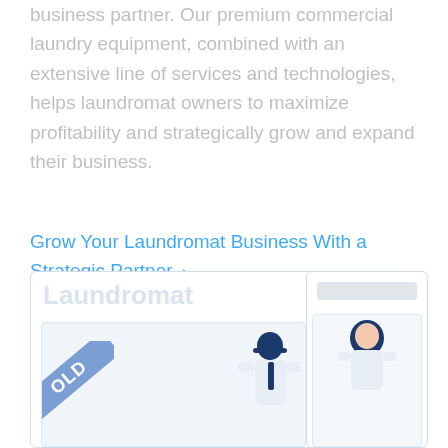business partner. Our premium commercial laundry equipment, combined with an extensive line of services and technologies, helps laundromat owners to maximize profitability and strategically grow and expand their business.
Grow Your Laundromat Business With a Strategic Partner ›
[Figure (illustration): Two card thumbnails at the bottom of the page. Left card shows 'Laundromat' text with a blue SOLD banner diagonal across the corner, and a person figure (male with cap). Right card shows a gray rectangle bar at top and a person figure (female with dark hair).]